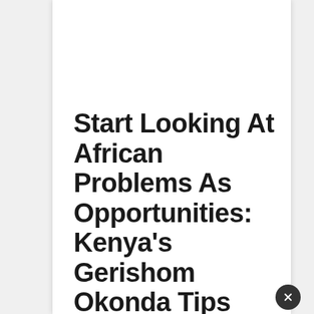Start Looking At African Problems As Opportunities: Kenya's Gerishom Okonda Tips Pan African